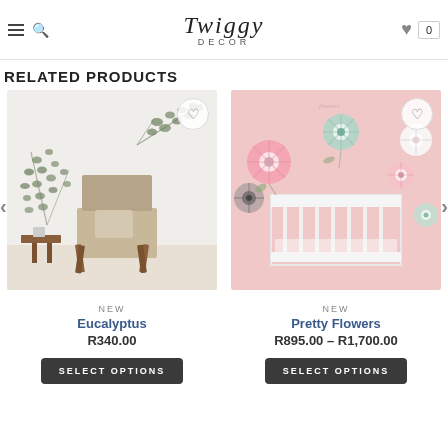Twiggy Decor
RELATED PRODUCTS
[Figure (photo): Eucalyptus wall decal product photo showing botanical leaf stickers on a white wall behind a wooden director's chair]
NEW
Eucalyptus
R340.00
[Figure (photo): Pretty Flowers wall decal product photo showing large floral stickers on a pink wall behind a white crib in a nursery]
NEW
Pretty Flowers
R895.00 – R1,700.00